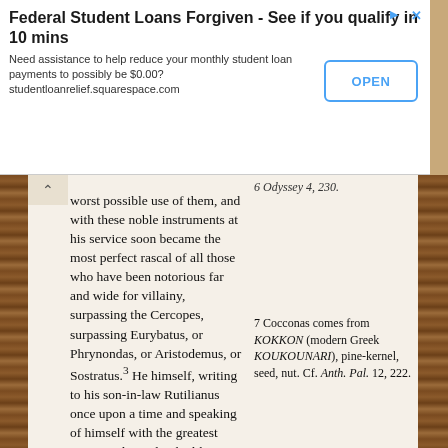[Figure (screenshot): Advertisement banner: 'Federal Student Loans Forgiven - See if you qualify in 10 mins. Need assistance to help reduce your monthly student loan payments to possibly be $0.00? studentloanrelief.squarespace.com' with OPEN button]
worst possible use of them, and with these noble instruments at his service soon became the most perfect rascal of all those who have been notorious far and wide for villainy, surpassing the Cercopes, surpassing Eurybatus, or Phrynondas, or Aristodemus, or Sostratus.³ He himself, writing to his son-in-law Rutilianus once upon a time and speaking of himself with the greatest reserve, claimed to be like Pythagoras; but— with all due respect to Pythagoras, a wise man of more than human intelligence—if he had been this man's contemporary, he
6 Odyssey 4, 230.
7 Cocconas comes from KOKKON (modern Greek KOUKOUNARI), pine-kernel, seed, nut. Cf. Anth. Pal. 12, 222.